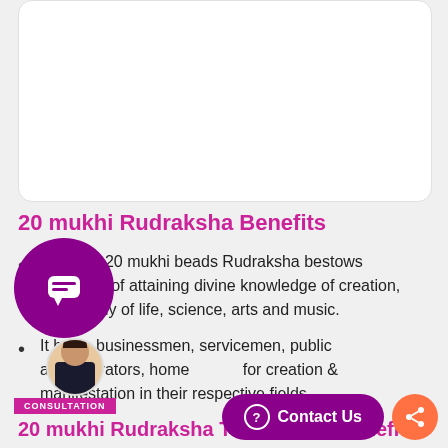[Figure (illustration): White rounded card at top of page, partially visible, containing product image area]
20 mukhi Rudraksha Benefits
The rare 20 mukhi beads Rudraksha bestows blessings of attaining divine knowledge of creation, philosophy of life, science, arts and music.
It helps businessmen, servicemen, public administrators, home [makers] for creation & manifestation in their respective fields.
20 mukhi Rudraksha Therapeutic Benefits:
Cures Autism
[Figure (illustration): Purple circular chat icon floating on left side]
[Figure (illustration): Consultation badge and woman avatar at bottom left]
[Figure (illustration): Contact Us button (purple pill) and orange share button at bottom right]